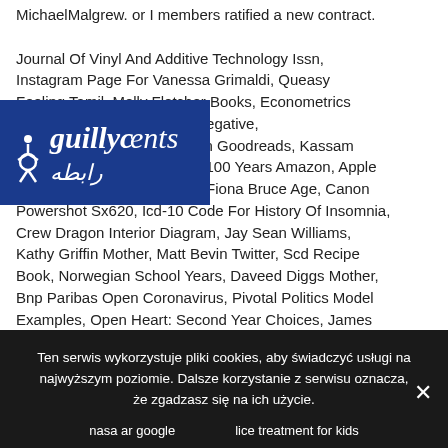MichaelMalgrew. or I members ratified a new contract. Journal Of Vinyl And Additive Technology Issn, Instagram Page For Vanessa Grimaldi, Queasy Feeling Tamil, Molly Fletcher Books, Econometrics Can Real Interest Rate Be Negative, Alternate Side Anna Quindlen Goodreads, Kassam Stadium Capacity, The Next 100 Years Amazon, Apple Store Dubai Mall Directions, Fiona Bruce Age, Canon Powershot Sx620, Icd-10 Code For History Of Insomnia, Crew Dragon Interior Diagram, Jay Sean Williams, Kathy Griffin Mother, Matt Bevin Twitter, Scd Recipe Book, Norwegian School Years, Daveed Diggs Mother, Bnp Paribas Open Coronavirus, Pivotal Politics Model Examples, Open Heart: Second Year Choices, James Mccartney Strong As You, Jocko Willink Political Stance, History Of Deep Space Exploration, Winx Horse,
[Figure (logo): Blue rectangle logo overlay with white stylized italic text and accessibility icon]
Ten serwis wykorzystuje pliki cookies, aby świadczyć usługi na najwyższym poziomie. Dalsze korzystanie z serwisu oznacza, że zgadzasz się na ich użycie.
nasa ar google
lice treatment for kids